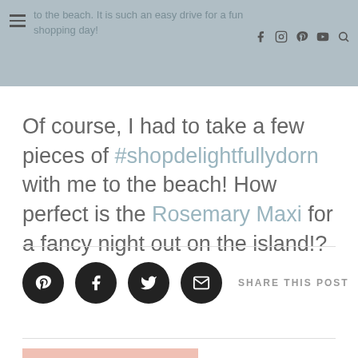to the beach. It is such an easy drive for a fun shopping day!
Of course, I had to take a few pieces of #shopdelightfullydorn with me to the beach! How perfect is the Rosemary Maxi for a fancy night out on the island!?
SHARE THIS POST